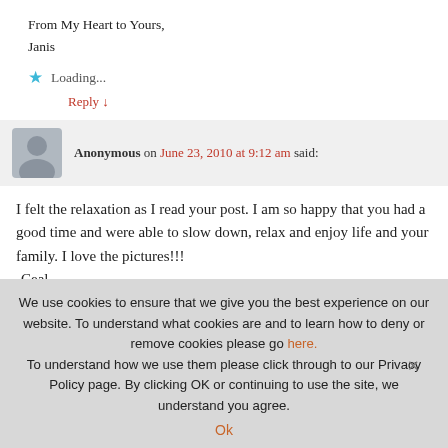From My Heart to Yours,
Janis
Loading...
Reply ↓
Anonymous on June 23, 2010 at 9:12 am said:
I felt the relaxation as I read your post. I am so happy that you had a good time and were able to slow down, relax and enjoy life and your family. I love the pictures!!!
-Ceal-
We use cookies to ensure that we give you the best experience on our website. To understand what cookies are and to learn how to deny or remove cookies please go here. To understand how we use them please click through to our Privacy Policy page. By clicking OK or continuing to use the site, we understand you agree.
Ok